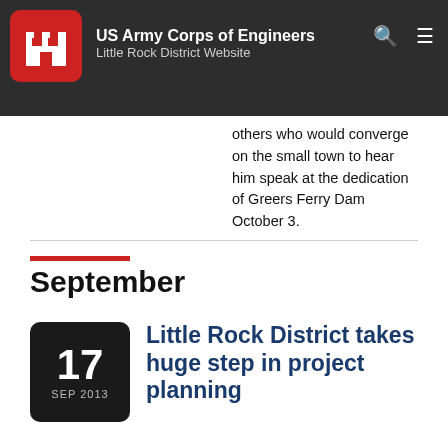US Army Corps of Engineers Little Rock District Website
of a small Arkansas town nestled at the foothills of the Ozark Mountains were eagerly awaiting the arrival of one of the most important persons on earth. Former President Kennedy was set to address Heber Springs, Ark., and thousands of others who would converge on the small town to hear him speak at the dedication of Greers Ferry Dam October 3.
September
Little Rock District takes huge step in project planning
The City of Springfield, Missouri, experiences damages from flash floods along Jordan Creek. The area along Jordan Creek is heavily urbanized and includes a vicinity for development associated with